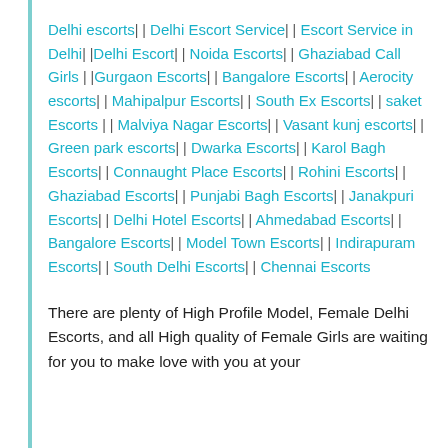Delhi escorts | | Delhi Escort Service | | Escort Service in Delhi | |Delhi Escort | | Noida Escorts | | Ghaziabad Call Girls | |Gurgaon Escorts | | Bangalore Escorts | | Aerocity escorts | | Mahipalpur Escorts | | South Ex Escorts | | saket Escorts | | Malviya Nagar Escorts | | Vasant kunj escorts | | Green park escorts | | Dwarka Escorts | | Karol Bagh Escorts | | Connaught Place Escorts | | Rohini Escorts | | Ghaziabad Escorts | | Punjabi Bagh Escorts | | Janakpuri Escorts | | Delhi Hotel Escorts | | Ahmedabad Escorts | | Bangalore Escorts | | Model Town Escorts | | Indirapuram Escorts | | South Delhi Escorts | | Chennai Escorts
There are plenty of High Profile Model, Female Delhi Escorts, and all High quality of Female Girls are waiting for you to make love with you at your